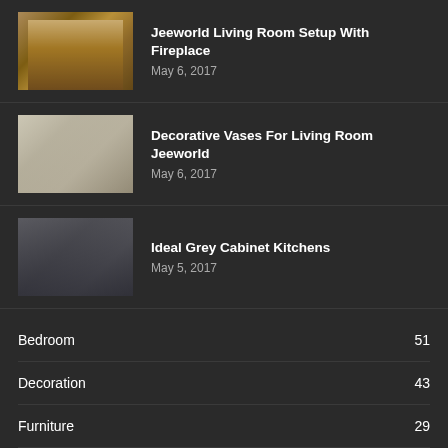Jeeworld Living Room Setup With Fireplace
May 6, 2017
Decorative Vases For Living Room Jeeworld
May 6, 2017
Ideal Grey Cabinet Kitchens
May 5, 2017
Bedroom	51
Decoration	43
Furniture	29